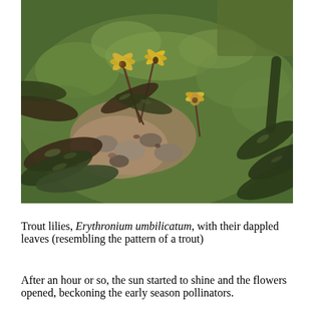[Figure (photo): Close-up photograph of trout lilies (Erythronium umbilicatum) growing on a mossy rock. The plants have mottled dark green and purple leaves and small yellow flowers with reflexed petals. The background shows green moss, soil, and small rocks in a natural woodland setting.]
Trout lilies, Erythronium umbilicatum, with their dappled leaves (resembling the pattern of a trout)
After an hour or so, the sun started to shine and the flowers opened, beckoning the early season pollinators.